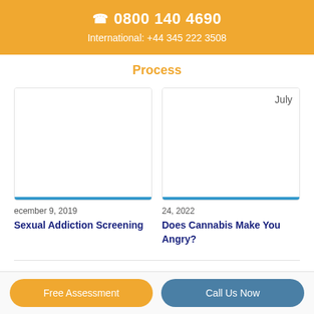📞 0800 140 4690
International: +44 345 222 3508
Process
[Figure (photo): Card image placeholder (blank white)]
[Figure (photo): Card image placeholder with 'July' month label in top right]
ecember 9, 2019
24, 2022
Sexual Addiction Screening
Does Cannabis Make You Angry?
Free Assessment
Call Us Now